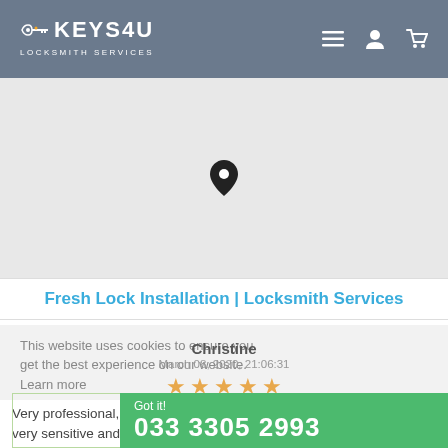[Figure (screenshot): Keys4U Locksmith Services website header with logo, hamburger menu, user icon, and cart icon on a grey background]
[Figure (map): A map area showing a location pin marker in the center, representing a geographic map view]
Fresh Lock Installation | Locksmith Services
This website uses cookies to ensure you get the best experience on our website.
Learn more
Christine
March 08, 2020, 21:06:31
[Figure (other): Five gold/orange star rating icons]
Very professional, effi... Patrick. He dealt with ... very sensitive and ser...
Got it!
033 3305 2993